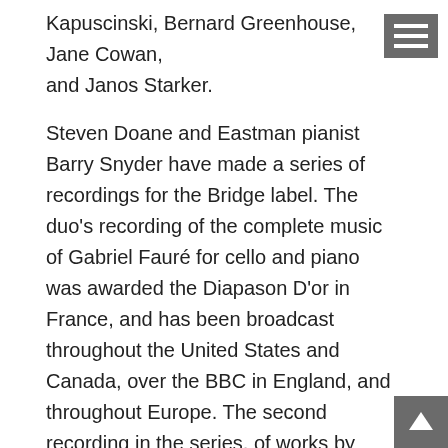Kapuscinski, Bernard Greenhouse, Jane Cowan, and Janos Starker.
Steven Doane and Eastman pianist Barry Snyder have made a series of recordings for the Bridge label. The duo's recording of the complete music of Gabriel Fauré for cello and piano was awarded the Diapason D'or in France, and has been broadcast throughout the United States and Canada, over the BBC in England, and throughout Europe. The second recording in the series, of works by Britten and Frank Bridge, was also released to critical acclaim. New releases on Bridge include the Rachmaninoff Sonata with Barry Snyder (May 2012) and Britten Solo Suites (due for release in 2013).